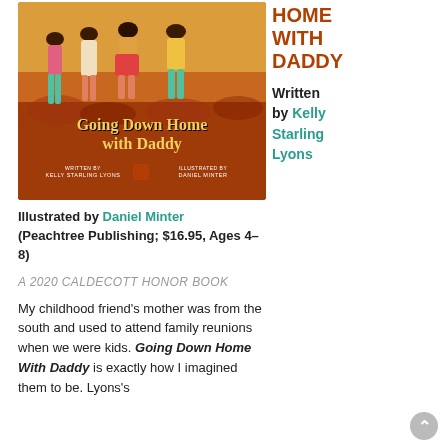[Figure (illustration): Book cover of 'Going Down Home With Daddy' showing illustrated figures of children and adults in warm earthy tones, with yellow title text and author/illustrator credits at the bottom.]
Illustrated by Daniel Minter
(Peachtree Publishing; $16.95, Ages 4–8)
HOME WITH DADDY
Written by Kelly Starling Lyons
A 2020 CALDECOTT HONOR BOOK
My childhood friend's mother was from the south and used to attend family reunions when we were kids. Going Down Home With Daddy is exactly how I imagined them to be. Lyons's